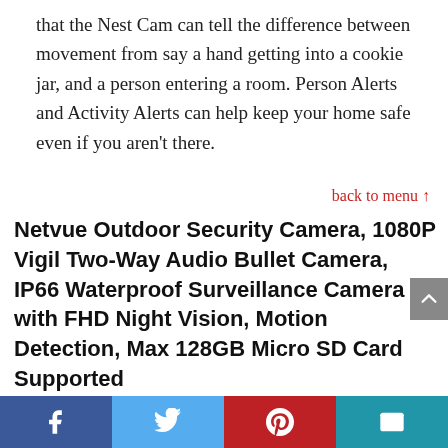that the Nest Cam can tell the difference between movement from say a hand getting into a cookie jar, and a person entering a room. Person Alerts and Activity Alerts can help keep your home safe even if you aren't there.
back to menu ↑
Netvue Outdoor Security Camera, 1080P Vigil Two-Way Audio Bullet Camera, IP66 Waterproof Surveillance Camera with FHD Night Vision, Motion Detection, Max 128GB Micro SD Card Supported
Facebook | Twitter | Pinterest | Email